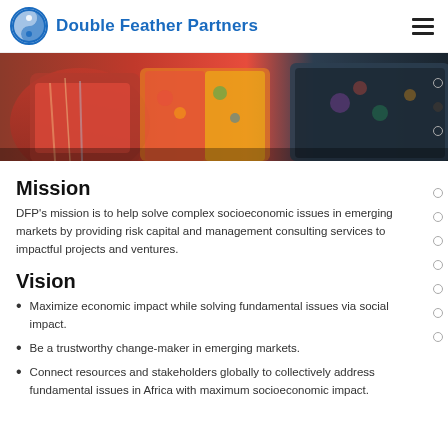Double Feather Partners
[Figure (photo): Photo of women in colorful traditional clothing, cropped to show torsos and fabric patterns]
Mission
DFP's mission is to help solve complex socioeconomic issues in emerging markets by providing risk capital and management consulting services to impactful projects and ventures.
Vision
Maximize economic impact while solving fundamental issues via social impact.
Be a trustworthy change-maker in emerging markets.
Connect resources and stakeholders globally to collectively address fundamental issues in Africa with maximum socioeconomic impact.